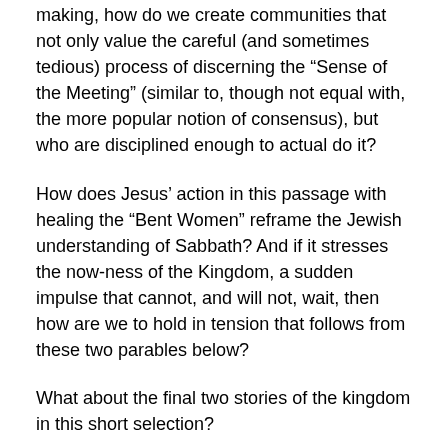making, how do we create communities that not only value the careful (and sometimes tedious) process of discerning the “Sense of the Meeting” (similar to, though not equal with, the more popular notion of consensus), but who are disciplined enough to actual do it?
How does Jesus’ action in this passage with healing the “Bent Women” reframe the Jewish understanding of Sabbath? And if it stresses the now-ness of the Kingdom, a sudden impulse that cannot, and will not, wait, then how are we to hold in tension that follows from these two parables below?
What about the final two stories of the kingdom in this short selection?
“It is like a mustard seed that someone took and sowed in the garden; it grew and became a tree, and the birds of the air made nests in its branches.”